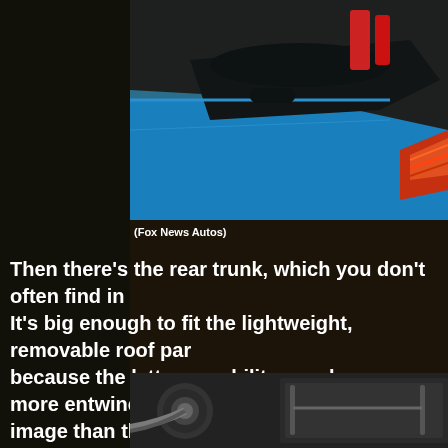[Figure (photo): Close-up photo of the rear of a blue sports car showing trunk area, black spoiler, and red/orange tail lights]
(Fox News Autos)
Then there’s the rear trunk, which you don’t often find in It’s big enough to fit the lightweight, removable roof par because the latter capability may be even more entwined image than the location of its motor. Since that’s in the there’s also room for a sizeable front “frunk.”
[Figure (photo): Bottom photo showing car charging port and trunk area]